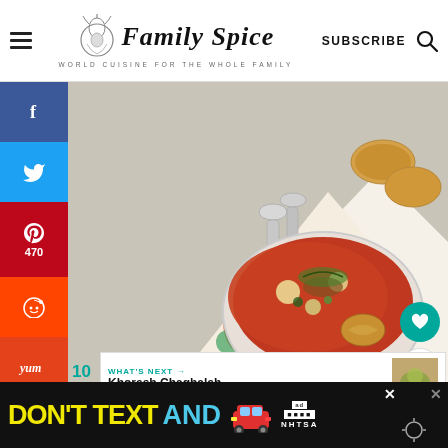Family Spice — WORLD CUISINE FOR THE WHOLE FAMILY — SUBSCRIBE
[Figure (photo): Overhead food photography showing a bowl of red tomato-based soup/stew with vegetables, served with toasted bread slices, two silver spoons resting on a colorful floral patterned cloth napkin on a grey concrete surface]
470
470 SHARES
WHAT'S NEXT → Khoresh Chaghaleh...
10
[Figure (infographic): Ad banner: DON'T TEXT AND [car emoji] with NHTSA logo and ad disclosure]